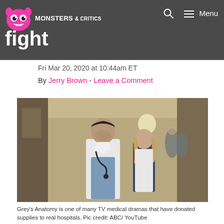Monsters & Critics — help coronavirus fight
help coronavirus fight
Fri Mar 20, 2020 at 10:44am ET
By Jerry Brown - Leave a Comment
[Figure (photo): Two doctors in white lab coats walking down a hospital corridor. The male doctor in front wears a stethoscope. A female doctor walks slightly behind him. Hospital staff are visible in the background.]
Grey's Anatomy is one of many TV medical dramas that have donated supplies to real hospitals. Pic credit: ABC/ YouTube